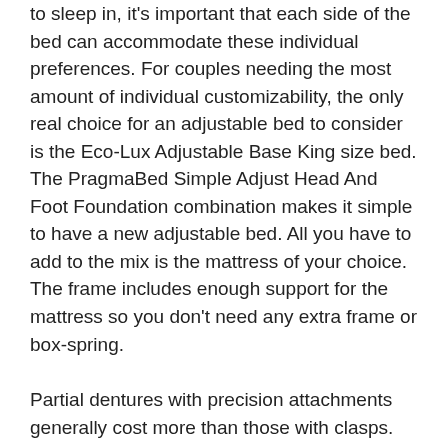to sleep in, it's important that each side of the bed can accommodate these individual preferences. For couples needing the most amount of individual customizability, the only real choice for an adjustable bed to consider is the Eco-Lux Adjustable Base King size bed. The PragmaBed Simple Adjust Head And Foot Foundation combination makes it simple to have a new adjustable bed. All you have to add to the mix is the mattress of your choice. The frame includes enough support for the mattress so you don't need any extra frame or box-spring.
Partial dentures with precision attachments generally cost more than those with clasps. Consult with your dentist to find out which type is right for you. Making statements based on opinion; back them up with references or personal experience. Each block is permanently screwed to either the top or the base. Taking the top off will not make the base significantly smaller or more transportable